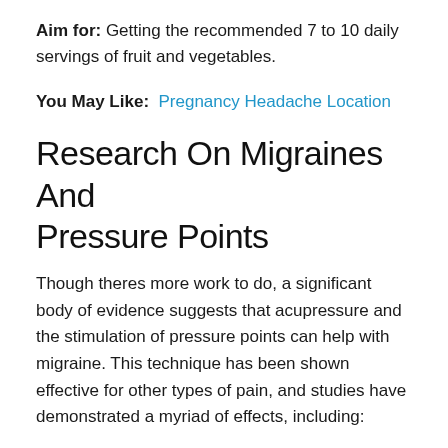Aim for: Getting the recommended 7 to 10 daily servings of fruit and vegetables.
You May Like: Pregnancy Headache Location
Research On Migraines And Pressure Points
Though theres more work to do, a significant body of evidence suggests that acupressure and the stimulation of pressure points can help with migraine. This technique has been shown effective for other types of pain, and studies have demonstrated a myriad of effects, including:
Efficacy against primary headaches: A wide-ranging review of research into acupressure for primary headache disorders, including migraine, found some evidence that it